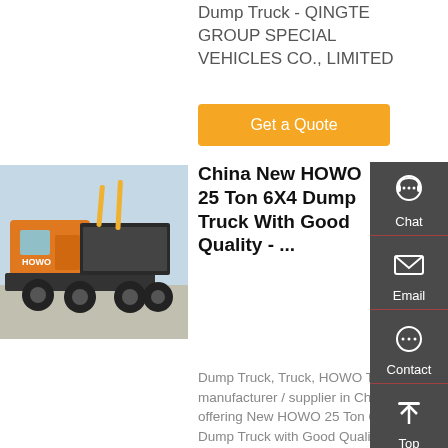Dump Truck - QINGTE GROUP SPECIAL VEHICLES CO., LIMITED
Get a Quote
[Figure (photo): Orange HOWO 6x4 dump truck photographed from rear-left angle in a yard with other vehicles]
China New HOWO 25 Ton 6X4 Dump Truck With Good Quality - ...
Dump Truck, Truck, HOWO Truck manufacturer / supplier in China, offering New HOWO 25 Ton 6X4 Dump Truck with Good Quality, Hot Sale 3t Front Wheel Loader Lw300kn with Cheap